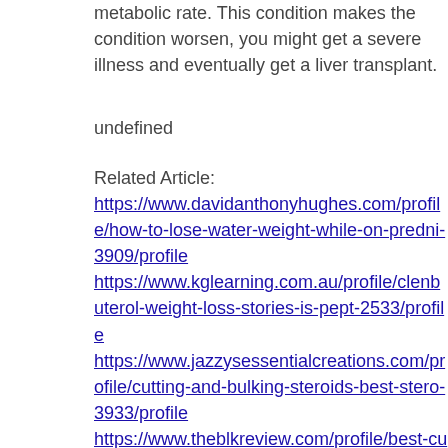metabolic rate. This condition makes the condition worsen, you might get a severe illness and eventually get a liver transplant.
undefined
Related Article: https://www.davidanthonyhughes.com/profile/how-to-lose-water-weight-while-on-predni-3909/profile https://www.kglearning.com.au/profile/clenbuterol-weight-loss-stories-is-pept-2533/profile https://www.jazzysessentialcreations.com/profile/cutting-and-bulking-steroids-best-stero-3933/profile https://www.theblkreview.com/profile/best-cutting-steroids-name-prednisone-a-79/profile